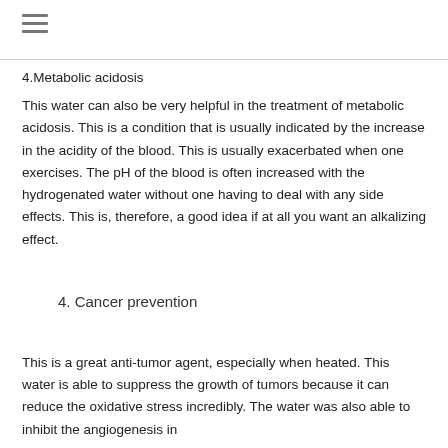≡
4.Metabolic acidosis
This water can also be very helpful in the treatment of metabolic acidosis. This is a condition that is usually indicated by the increase in the acidity of the blood. This is usually exacerbated when one exercises. The pH of the blood is often increased with the hydrogenated water without one having to deal with any side effects. This is, therefore, a good idea if at all you want an alkalizing effect.
4. Cancer prevention
This is a great anti-tumor agent, especially when heated. This water is able to suppress the growth of tumors because it can reduce the oxidative stress incredibly. The water was also able to inhibit the angiogenesis in